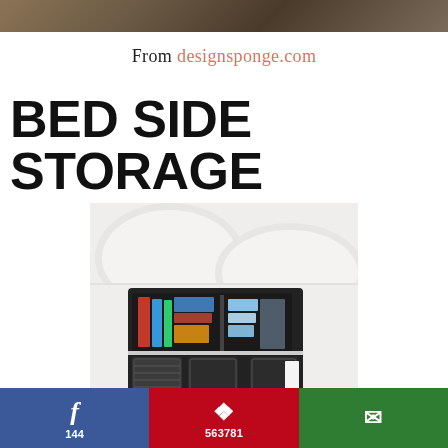[Figure (photo): Top banner image showing a partial room scene]
From designsponge.com
BED SIDE STORAGE
[Figure (photo): A black fabric bed-side storage organizer hanging on the side of a white upholstered bed, filled with books, magazines, and small items. Multiple pockets visible on the front.]
f 144 | Pinterest 563781 | Email share